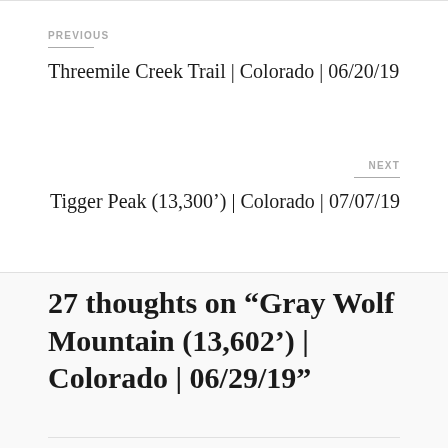PREVIOUS
Threemile Creek Trail | Colorado | 06/20/19
NEXT
Tigger Peak (13,300′) | Colorado | 07/07/19
27 thoughts on “Gray Wolf Mountain (13,602’) | Colorado | 06/29/19”